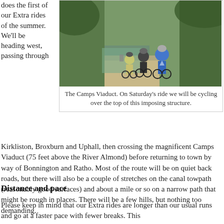does the first of our Extra rides of the summer. We'll be heading west, passing through
[Figure (photo): Cyclists riding along a canal towpath with green vegetation and trees on both sides. Several riders visible from behind wearing helmets and bright/dark cycling jackets.]
The Camps Viaduct. On Saturday's ride we will be cycling over the top of this imposing structure.
Kirkliston, Broxburn and Uphall, then crossing the magnificent Camps Viaduct (75 feet above the River Almond) before returning to town by way of Bonnington and Ratho. Most of the route will be on quiet back roads, but there will also be a couple of stretches on the canal towpath (reasonably good surfaces) and about a mile or so on a narrow path that might be rough in places. There will be a few hills, but nothing too demanding.
Distance and pace
Please keep in mind that our Extra rides are longer than our usual runs and go at a faster pace with fewer breaks. This